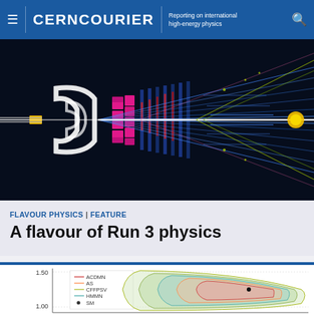CERNCOURIER | Reporting on international high-energy physics
[Figure (illustration): Cross-sectional visualization of a particle detector (LHCb-style), showing beam pipe, magnet yoke, tracking stations with colorful particle tracks radiating outward on a dark background. Magenta/pink components visible centrally, blue particle tracks, yellow/green calorimeter hits.]
FLAVOUR PHYSICS | FEATURE
A flavour of Run 3 physics
[Figure (continuous-plot): Partial view of a physics plot showing y-axis from 1.00 to 1.50, with multiple colored curve contours labeled ACDMN, AS, CFFPSV, HMMN and a point labeled SM. Curves appear to be exclusion contours in a 2D parameter space.]